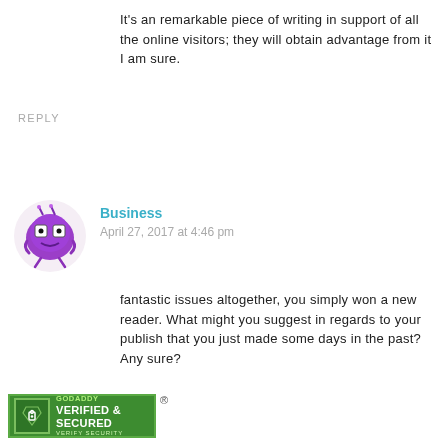It's an remarkable piece of writing in support of all the online visitors; they will obtain advantage from it I am sure.
REPLY
Business
April 27, 2017 at 4:46 pm
fantastic issues altogether, you simply won a new reader. What might you suggest in regards to your publish that you just made some days in the past? Any sure?
REPLY
[Figure (logo): GoDaddy Verified & Secured badge with shield icon and register mark]